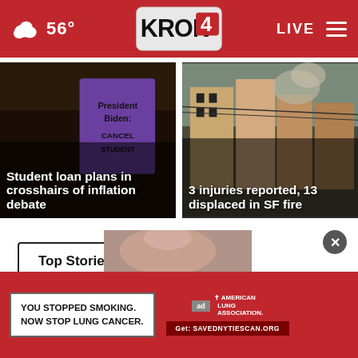56° KRON4 LIVE
[Figure (photo): Protest photo showing person holding purple sign reading 'President Biden: CANCEL STUDENT' with news headline overlay: Student loan plans in crosshairs of inflation debate]
[Figure (photo): Photo of urban street with smoke from fire, buildings visible, with news headline overlay: 3 injuries reported, 13 displaced in SF fire]
Top Stories ›
[Figure (photo): Partial face photo peek, advertisement overlay: YOU STOPPED SMOKING. NOW STOP LUNG CANCER. — American Lung Association. Get: SAVEDNYTIESCAN.ORG]